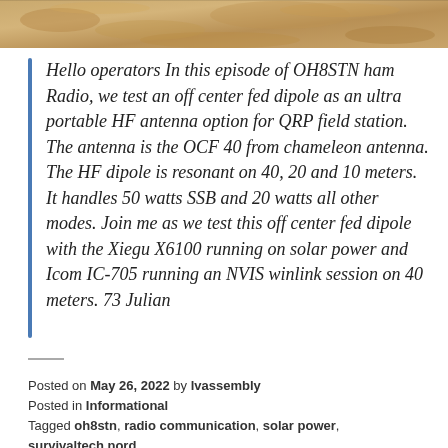[Figure (photo): Sandy/rocky textured background image filling the top strip of the page]
Hello operators In this episode of OH8STN ham Radio, we test an off center fed dipole as an ultra portable HF antenna option for QRP field station. The antenna is the OCF 40 from chameleon antenna. The HF dipole is resonant on 40, 20 and 10 meters. It handles 50 watts SSB and 20 watts all other modes. Join me as we test this off center fed dipole with the Xiegu X6100 running on solar power and Icom IC-705 running an NVIS winlink session on 40 meters. 73 Julian
Posted on May 26, 2022 by lvassembly
Posted in Informational
Tagged oh8stn, radio communication, solar power, survivaltech nord,